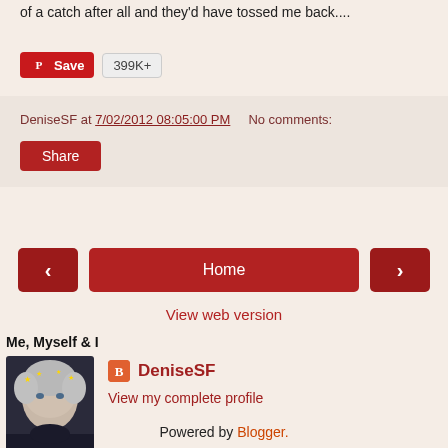of a catch after all and they'd have tossed me back....
[Figure (screenshot): Pinterest Save button with count 399K+]
DeniseSF at 7/02/2012 08:05:00 PM   No comments:
Share
[Figure (screenshot): Navigation buttons: left arrow, Home, right arrow]
View web version
Me, Myself & I
[Figure (photo): Profile photo of DeniseSF - woman with short grey hair]
DeniseSF
View my complete profile
Powered by Blogger.